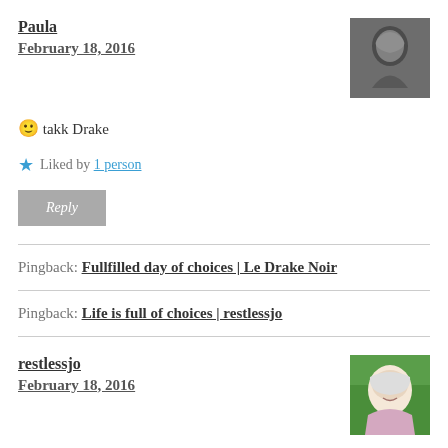Paula — February 18, 2016
[Figure (photo): Black and white avatar photo of Paula]
🙂 takk Drake
★ Liked by 1 person
Reply (button)
Pingback: Fullfilled day of choices | Le Drake Noir
Pingback: Life is full of choices | restlessjo
restlessjo — February 18, 2016
[Figure (photo): Color photo of restlessjo, a woman with short white hair outdoors]
Almost never, Paula! 🙂 Love the music on this one. I thought you might like some pirates this week, but then I couldn't